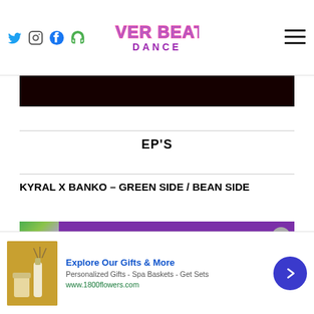River Beats Dance — website header with social icons and navigation
[Figure (screenshot): Black banner image (partially visible, dark background)]
EP'S
KYRAL X BANKO – GREEN SIDE / BEAN SIDE
[Figure (screenshot): Spotify embed banner for Greenside / Beanside with purple background, thumbnail, and play button]
We use cookies on our website to give you the most relevant experience by remembering your preferences and repeat visits. By clicking "Accept All", you consent to the use of ALL
[Figure (infographic): Advertisement banner: Explore Our Gifts & More — 1800flowers.com, Personalized Gifts - Spa Baskets - Get Sets]